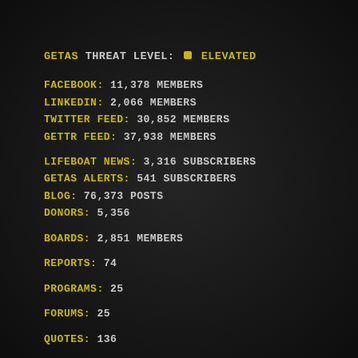GETAS THREAT LEVEL: ELEVATED
FACEBOOK: 11,378 MEMBERS
LINKEDIN: 2,066 MEMBERS
TWITTER FEED: 30,852 MEMBERS
GETTR FEED: 37,938 MEMBERS
LIFEBOAT NEWS: 3,316 SUBSCRIBERS
GETAS ALERTS: 541 SUBSCRIBERS
BLOG: 76,373 POSTS
DONORS: 5,356
BOARDS: 2,851 MEMBERS
REPORTS: 74
PROGRAMS: 25
FORUMS: 25
QUOTES: 136
FIGHT AIDS: 3 MEMBERS
FOLDING@HOME: 15 MEMBERS
ROSETTA@HOME: 44 MEMBERS